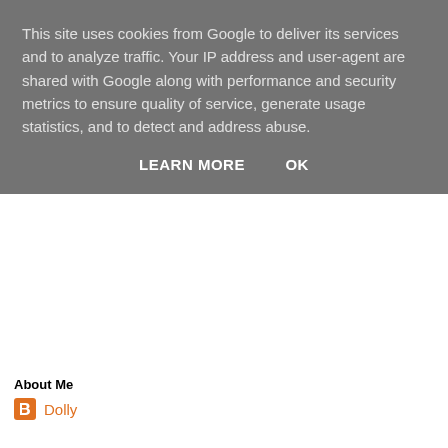This site uses cookies from Google to deliver its services and to analyze traffic. Your IP address and user-agent are shared with Google along with performance and security metrics to ensure quality of service, generate usage statistics, and to detect and address abuse.
LEARN MORE   OK
About Me
Dolly